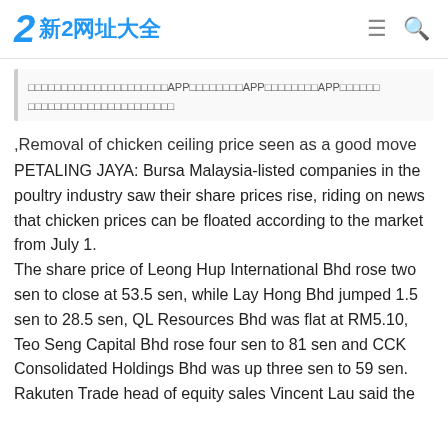新2网址大全
□□□□□□□□□□□□□□□□□□□□□APP□□□□□□□□APP□□□□□□□□APP□□□□□□□□□□□□□□□□□□□□□□□□□□
,Removal of chicken ceiling price seen as a good move
PETALING JAYA: Bursa Malaysia-listed companies in the poultry industry saw their share prices rise, riding on news that chicken prices can be floated according to the market from July 1.
The share price of Leong Hup International Bhd rose two sen to close at 53.5 sen, while Lay Hong Bhd jumped 1.5 sen to 28.5 sen, QL Resources Bhd was flat at RM5.10, Teo Seng Capital Bhd rose four sen to 81 sen and CCK Consolidated Holdings Bhd was up three sen to 59 sen.
Rakuten Trade head of equity sales Vincent Lau said the